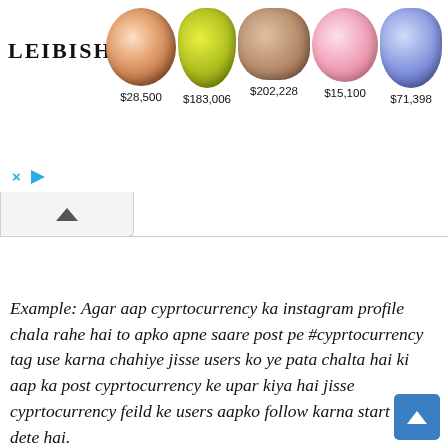[Figure (screenshot): Leibish jewelry advertisement banner showing 5 gemstones with prices: $28,500 (rose/diamond ring), $183,006 (yellow-green pear gem), $202,228 (brown cushion gem), $15,100 (pink oval gem), $71,398 (blue pear gem). Leibish logo on left. Ad controls (X and play icon) at bottom left. Collapse chevron button below banner.]
Example: Agar aap cyprtocurrency ka instagram profile chala rahe hai to apko apne saare post pe #cyprtocurrency tag use karna chahiye jisse users ko ye pata chalta hai ki aap ka post cyprtocurrency ke upar kiya hai jisse cyprtocurrency feild ke users aapko follow karna start kar dete hai.